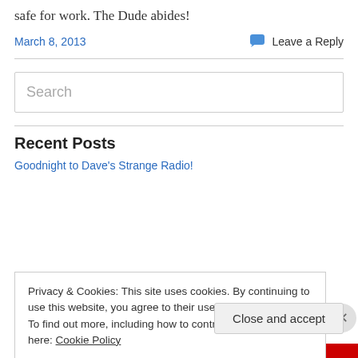safe for work. The Dude abides!
March 8, 2013
Leave a Reply
Search
Recent Posts
Goodnight to Dave's Strange Radio!
Privacy & Cookies: This site uses cookies. By continuing to use this website, you agree to their use.
To find out more, including how to control cookies, see here: Cookie Policy
Close and accept